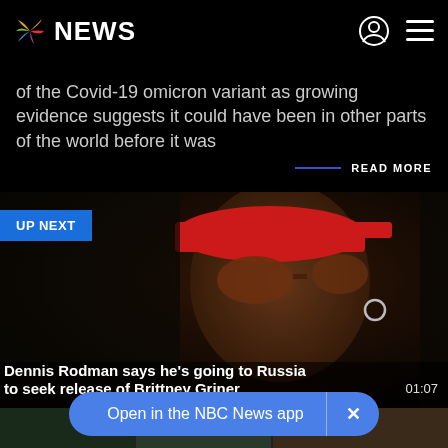NBC NEWS
of the Covid-19 omicron variant as growing evidence suggests it could have been in other parts of the world before it was
READ MORE
[Figure (photo): Close-up side profile photo of Dennis Rodman wearing a red cap and brown sunglasses with hoop earring, UP NEXT badge overlay]
Dennis Rodman says he's going to Russia to seek release of Brittney Griner
01:07
Open in the NBC News app